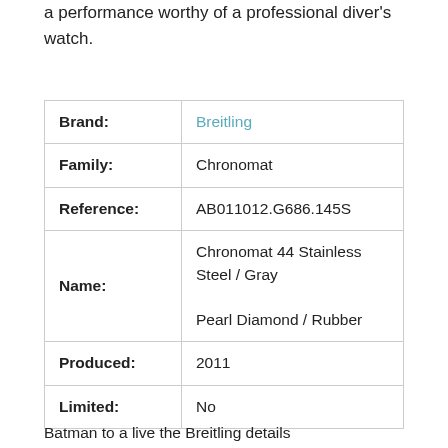a performance worthy of a professional diver's watch.
|  |  |
| --- | --- |
| Brand: | Breitling |
| Family: | Chronomat |
| Reference: | AB011012.G686.145S |
| Name: | Chronomat 44 Stainless Steel / Gray Pearl Diamond / Rubber |
| Produced: | 2011 |
| Limited: | No |
Batman to a live the Breitling details